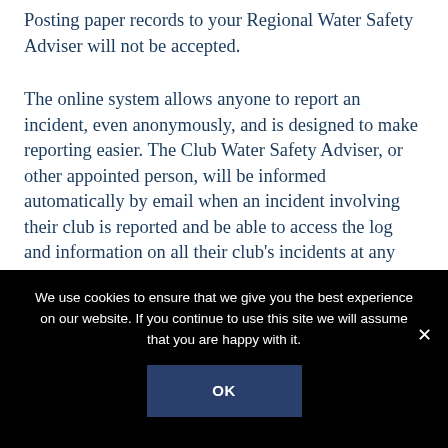Posting paper records to your Regional Water Safety Adviser will not be accepted.
The online system allows anyone to report an incident, even anonymously, and is designed to make reporting easier. The Club Water Safety Adviser, or other appointed person, will be informed automatically by email when an incident involving their club is reported and be able to access the log and information on all their club's incidents at any time. Likewise, their Regional Water Safety Adviser will be informed and where
We use cookies to ensure that we give you the best experience on our website. If you continue to use this site we will assume that you are happy with it.
OK